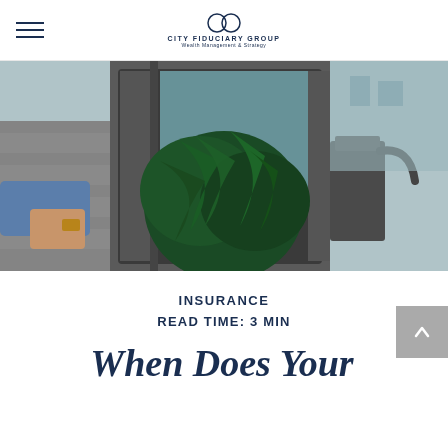City Fiduciary Group
[Figure (photo): A person loading large green tropical plants into the back of a van, vehicle hatch open, plants filling the cargo area, brick wall and urban setting in background.]
INSURANCE
READ TIME: 3 MIN
When Does Your